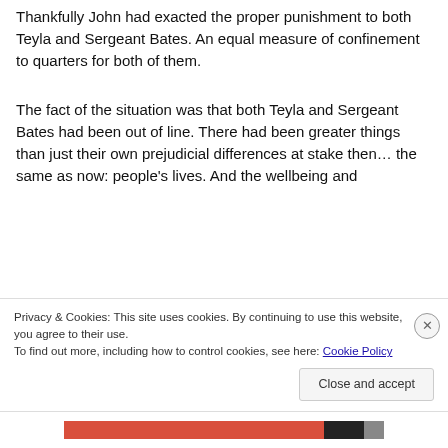Thankfully John had exacted the proper punishment to both Teyla and Sergeant Bates.  An equal measure of confinement to quarters for both of them.
The fact of the situation was that both Teyla and Sergeant Bates had been out of line.  There had been greater things than just their own prejudicial differences at stake then… the same as now:  people's lives.  And the wellbeing and
Privacy & Cookies: This site uses cookies. By continuing to use this website, you agree to their use.
To find out more, including how to control cookies, see here: Cookie Policy
Close and accept